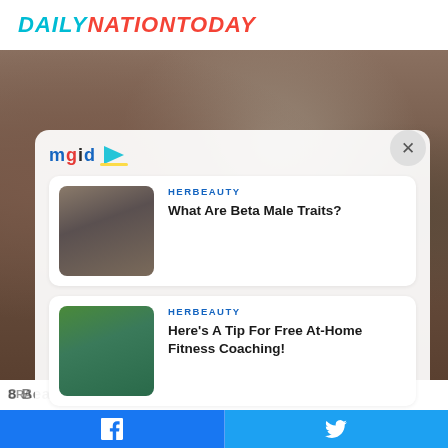DAILYNATIONTODAY
[Figure (photo): Group of people (band members) posing together against a wall background]
[Figure (logo): mgid logo with play button triangle]
HERBEAUTY
What Are Beta Male Traits?
[Figure (photo): Man in white tank top standing in front of colorful graffiti wall]
8 Beautiful Songs That Have Disturbing Meanings
BRA
HERBEAUTY
Here's A Tip For Free At-Home Fitness Coaching!
[Figure (photo): Fit woman in red sports bra posing outdoors flexing]
Facebook share button | Twitter share button